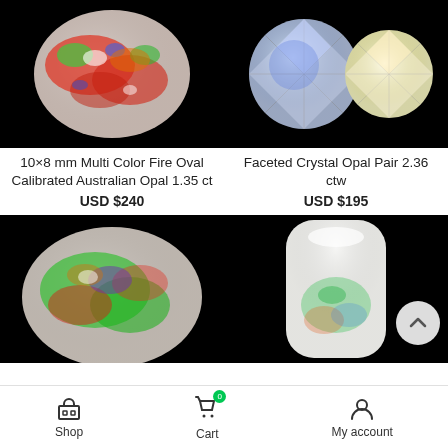[Figure (photo): 10x8mm Multi Color Fire Oval Calibrated Australian Opal gemstone on black background]
[Figure (photo): Faceted Crystal Opal Pair - two round faceted opals on black background]
10×8 mm Multi Color Fire Oval Calibrated Australian Opal 1.35 ct
USD $240
Faceted Crystal Opal Pair 2.36 ctw
USD $195
[Figure (photo): Colorful oval opal gemstone with green, red, purple fire on black background]
[Figure (photo): White rectangular opal cabochon with color play on black background]
Shop | Cart | My account